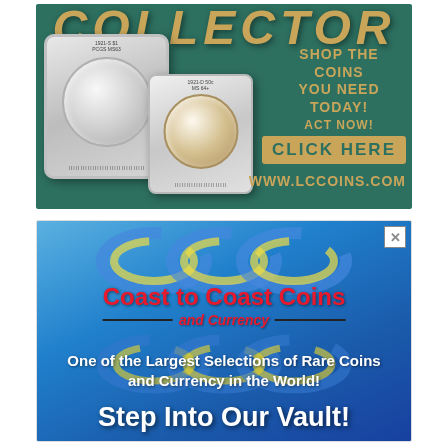[Figure (illustration): Advertisement for LCCoins.com featuring the word COLLECTOR, two graded coins (PCGS and NGC slabs), and text reading SHOP THE COINS YOU NEED TODAY! ACT NOW! CLICK HERE www.lccoins.com on a teal/green background]
[Figure (illustration): Advertisement for Coast to Coast Coins and Currency featuring CCC logo with swoosh design, text: One of the Largest Selections of Rare Coins and Currency in the World! Step Into Our Vault! on a blue gradient background]